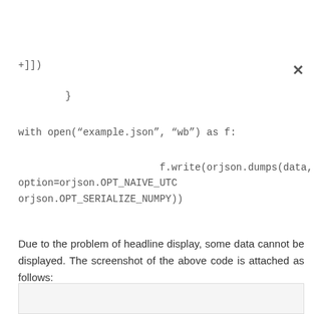+])}
}
with open(“example.json”, “wb”) as f:
f.write(orjson.dumps(data,
option=orjson.OPT_NAIVE_UTC                    |
orjson.OPT_SERIALIZE_NUMPY))
Due to the problem of headline display, some data cannot be displayed. The screenshot of the above code is attached as follows:
[Figure (screenshot): Screenshot box placeholder at bottom of page]